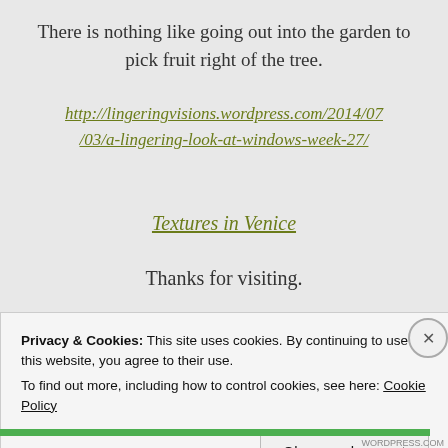There is nothing like going out into the garden to pick fruit right of the tree.
http://lingeringvisions.wordpress.com/2014/07/03/a-lingering-look-at-windows-week-27/
Textures in Venice
Thanks for visiting.
[Figure (illustration): Partial decorative icons/avatars at the bottom of the blog post, partially obscured by cookie banner]
Privacy & Cookies: This site uses cookies. By continuing to use this website, you agree to their use.
To find out more, including how to control cookies, see here: Cookie Policy
Close and accept